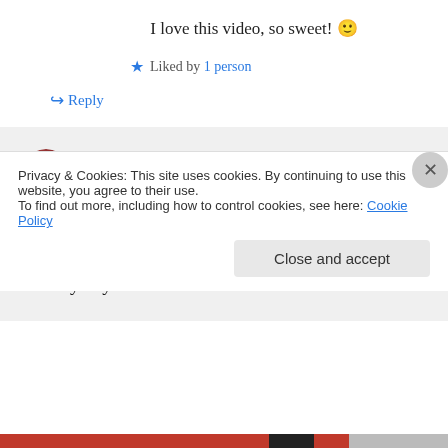I love this video, so sweet! 🙂
★ Liked by 1 person
↪ Reply
Lucy on March 3, 2015 at 8:33 AM
Thank you for watching. It's absolutely beautiful to see there are still kind people out there. Have a lovely day!
Privacy & Cookies: This site uses cookies. By continuing to use this website, you agree to their use.
To find out more, including how to control cookies, see here: Cookie Policy
Close and accept